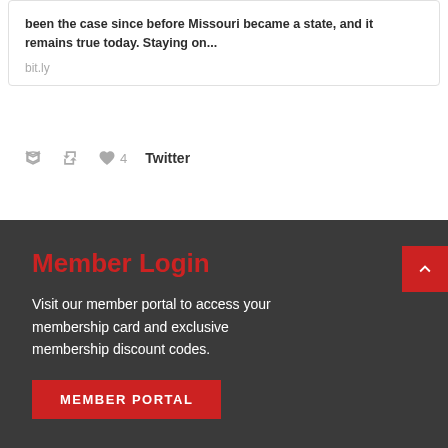been the case since before Missouri became a state, and it remains true today. Staying on...
bit.ly
4  Twitter
Member Login
Visit our member portal to access your membership card and exclusive membership discount codes.
MEMBER PORTAL